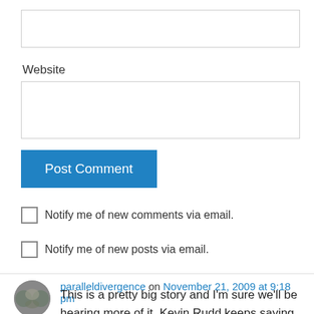[Figure (other): Empty text input box (form field)]
Website
[Figure (other): Empty website input box (form field)]
[Figure (other): Post Comment button (blue)]
Notify me of new comments via email.
Notify me of new posts via email.
paralleldivergence on November 21, 2009 at 9:18 pm
This is a pretty big story and I'm sure we'll be hearing more of it. Kevin Rudd keeps saying that